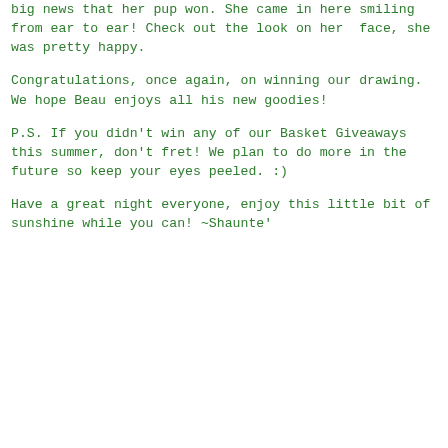big news that her pup won. She came in here smiling from ear to ear! Check out the look on her  face, she was pretty happy.
Congratulations, once again, on winning our drawing. We hope Beau enjoys all his new goodies!
P.S. If you didn't win any of our Basket Giveaways this summer, don't fret! We plan to do more in the future so keep your eyes peeled. :)
Have a great night everyone, enjoy this little bit of sunshine while you can! ~Shaunte'